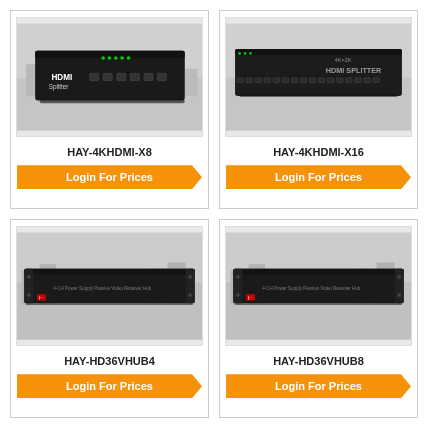[Figure (photo): HAY-4KHDMI-X8 HDMI Splitter device photo - black rack-mounted unit with HDMI splitter label]
HAY-4KHDMI-X8
Login For Prices
[Figure (photo): HAY-4KHDMI-X16 HDMI Splitter device photo - black rack-mounted unit labeled HDMI Splitter]
HAY-4KHDMI-X16
Login For Prices
[Figure (photo): HAY-HD36VHUB4 Power Supply Passive Video Receiver Hub - black rack unit with red power button]
HAY-HD36VHUB4
Login For Prices
[Figure (photo): HAY-HD36VHUB8 Power Supply Passive Video Receiver Hub - black rack unit with red power button]
HAY-HD36VHUB8
Login For Prices